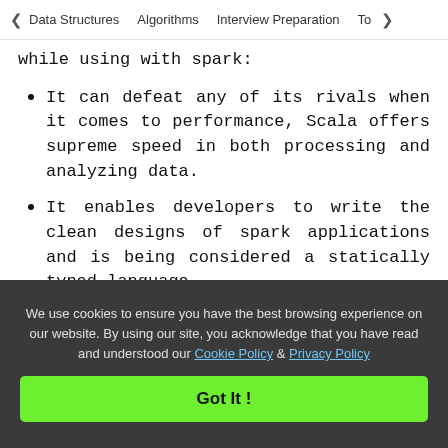< Data Structures   Algorithms   Interview Preparation   To>
while using with spark:
It can defeat any of its rivals when it comes to performance, Scala offers supreme speed in both processing and analyzing data.
It enables developers to write the clean designs of spark applications and is being considered a statically typed language.
Due to its procured adaptability, it can even work on real-time data, and on the other end, the processing is very quick.
With the help of Scala, it is possible and much
We use cookies to ensure you have the best browsing experience on our website. By using our site, you acknowledge that you have read and understood our Cookie Policy & Privacy Policy
Got It !